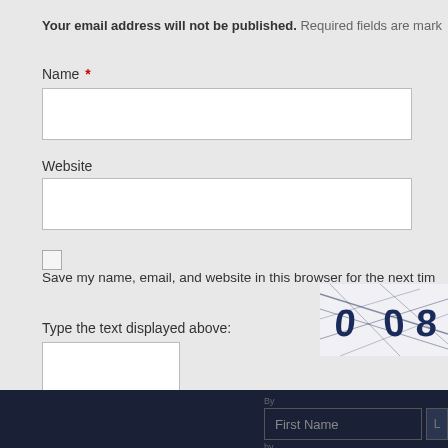Your email address will not be published. Required fields are marked
Name *
Website
Save my name, email, and website in this browser for the next tim
[Figure (other): CAPTCHA image showing distorted text '008' with strikethrough lines]
Type the text displayed above:
Comment
First Name